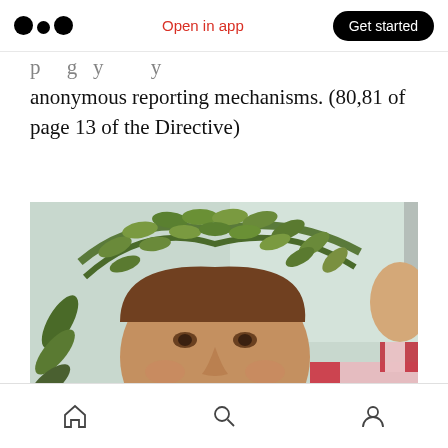Medium app navigation bar with logo, 'Open in app', and 'Get started' button
…anonymous reporting mechanisms. (80,81 of page 13 of the Directive)
[Figure (photo): A smiling woman wearing an olive laurel wreath crown on her head, with a medal/sash visible. Another person partially visible to the right. Background is light green/white.]
Bottom navigation bar with home, search, and profile icons